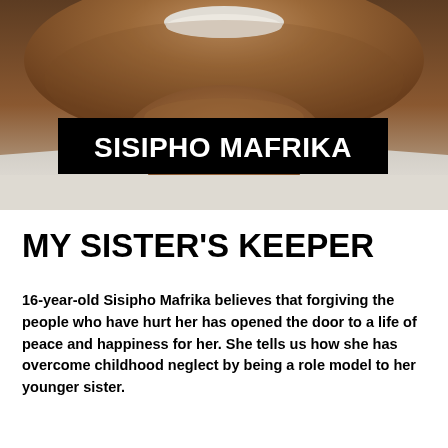[Figure (photo): Close-up photo of a person smiling, wearing a light-colored collared shirt, with a black banner overlay showing the name SISIPHO MAFRIKA]
MY SISTER'S KEEPER
16-year-old Sisipho Mafrika believes that forgiving the people who have hurt her has opened the door to a life of peace and happiness for her. She tells us how she has overcome childhood neglect by being a role model to her younger sister.